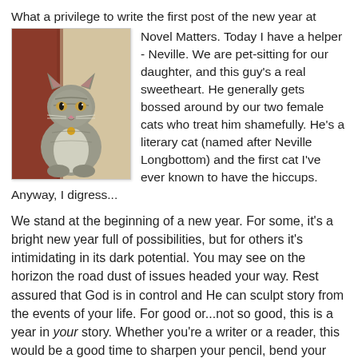What a privilege to write the first post of the new year at Novel Matters. Today I have a helper - Neville. We are pet-sitting for our daughter, and this guy's a real sweetheart. He generally gets bossed around by our two female cats who treat him shamefully. He's a literary cat (named after Neville Longbottom) and the first cat I've ever known to have the hiccups. Anyway, I digress...
[Figure (photo): A tabby cat sitting upright, looking at the camera, with a collar tag visible. Background shows a wall corner.]
We stand at the beginning of a new year. For some, it's a bright new year full of possibilities, but for others it's intimidating in its dark potential. You may see on the horizon the road dust of issues headed your way. Rest assured that God is in control and He can sculpt story from the events of your life. For good or...not so good, this is a year in your story. Whether you're a writer or a reader, this would be a good time to sharpen your pencil, bend your ear to the voice and write furiously. The blank page of the new year will fill, and we are entrusted with the telling of it, even if it is to